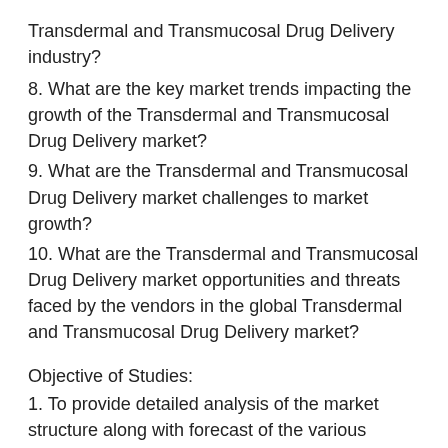Transdermal and Transmucosal Drug Delivery industry?
8. What are the key market trends impacting the growth of the Transdermal and Transmucosal Drug Delivery market?
9. What are the Transdermal and Transmucosal Drug Delivery market challenges to market growth?
10. What are the Transdermal and Transmucosal Drug Delivery market opportunities and threats faced by the vendors in the global Transdermal and Transmucosal Drug Delivery market?
Objective of Studies:
1. To provide detailed analysis of the market structure along with forecast of the various segments and sub-segments of the global Transdermal and Transmucosal Drug Delivery market.